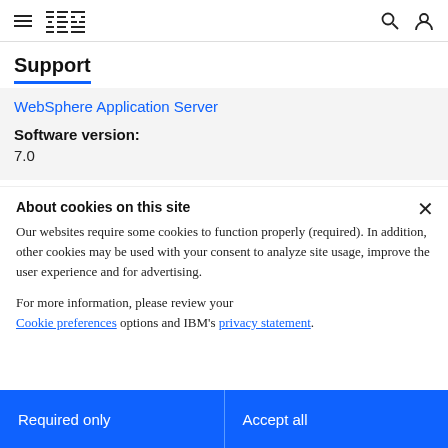IBM Navigation Bar with hamburger menu, IBM logo, search and user icons
Support
WebSphere Application Server
Software version:
7.0
About cookies on this site
Our websites require some cookies to function properly (required). In addition, other cookies may be used with your consent to analyze site usage, improve the user experience and for advertising.
For more information, please review your Cookie preferences options and IBM's privacy statement.
Required only
Accept all